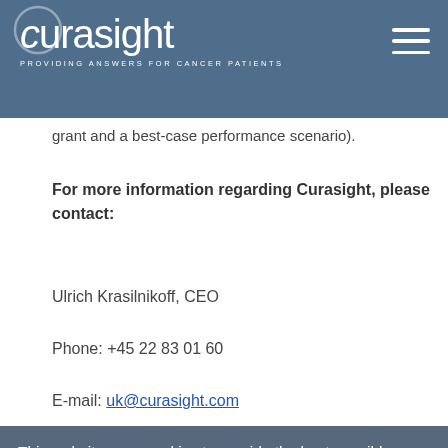curasight — PROVIDING ANSWERS FOR CANCER PATIENTS
grant and a best-case performance scenario).
For more information regarding Curasight, please contact:
Ulrich Krasilnikoff, CEO
Phone: +45 22 83 01 60
E-mail: uk@curasight.com
This website uses cookies to provide the best possible user experience. If you continue without making any changes you allow this. Read more about cookies here
Press Release Curasight 07-06-2022
Accept
is a clinical development company based in